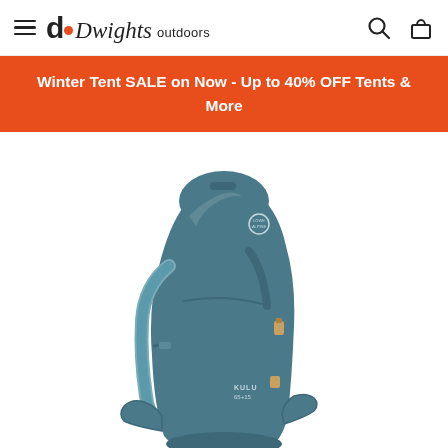Dwights outdoors
Winter Tent SALE on Now - Up to 40% OFF Tents & More
[Figure (photo): Lowe Alpine Kulu 65+15 hiking backpack in teal/dark teal color, shown from a slight angle displaying the front and side with shoulder straps, hip belt, and brand logo visible.]